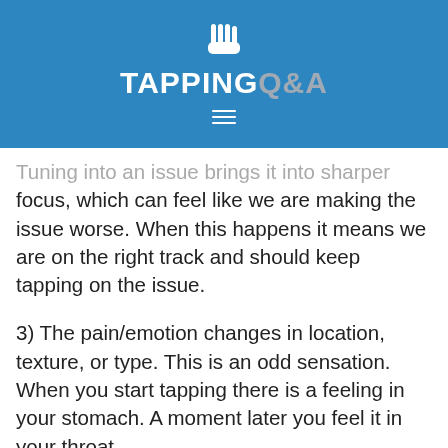TAPPING Q&A
Tuning into an issue brings it into sharper focus, which can feel like we are making the issue worse. When this happens it means we are on the right track and should keep tapping on the issue.
3) The pain/emotion changes in location, texture, or type. This is an odd sensation. When you start tapping there is a feeling in your stomach. A moment later you feel it in your throat.